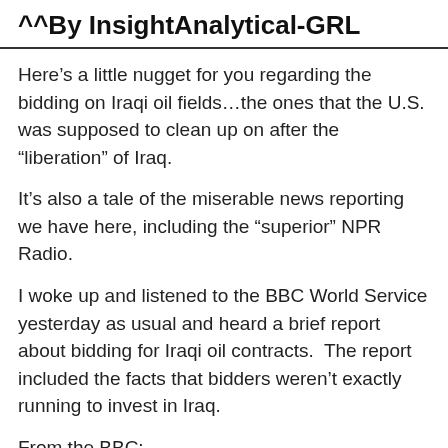^^By InsightAnalytical-GRL
Here’s a little nugget for you regarding the bidding on Iraqi oil fields…the ones that the U.S. was supposed to clean up on after the “liberation” of Iraq.
It’s also a tale of the miserable news reporting we have here, including the “superior” NPR Radio.
I woke up and listened to the BBC World Service yesterday as usual and heard a brief report about bidding for Iraqi oil contracts.  The report included the facts that bidders weren’t exactly running to invest in Iraq.
From the BBC:
Oil companies reject Iraq’s terms